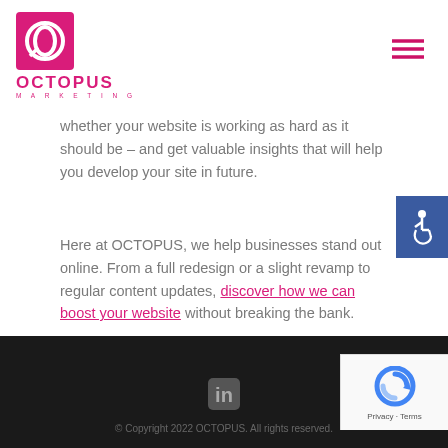[Figure (logo): Octopus Marketing logo — pink square with stylized O letterform in white, pink bold OCTOPUS text below with MARKETING subtitle]
[Figure (other): Hamburger menu icon (three horizontal lines) in pink/red, top right of header]
whether your website is working as hard as it should be – and get valuable insights that will help you develop your site in future.
Here at OCTOPUS, we help businesses stand out online. From a full redesign or a slight revamp to regular content updates, discover how we can boost your website without breaking the bank.
[Figure (other): Blue accessibility icon button — white wheelchair symbol on blue background, positioned right side]
[Figure (other): LinkedIn 'in' icon in dark grey in footer]
© Copyright 2022 OCTOPUS. All rights reserved.
[Figure (other): reCAPTCHA badge — blue circular arrow logo with Privacy · Terms text below]